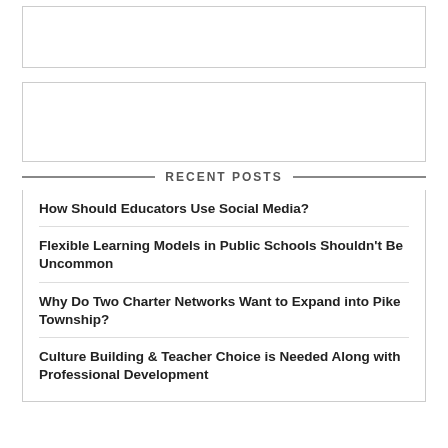[Figure (other): Empty outlined box placeholder at top of page]
[Figure (other): Empty outlined box placeholder below first box]
RECENT POSTS
How Should Educators Use Social Media?
Flexible Learning Models in Public Schools Shouldn't Be Uncommon
Why Do Two Charter Networks Want to Expand into Pike Township?
Culture Building & Teacher Choice is Needed Along with Professional Development